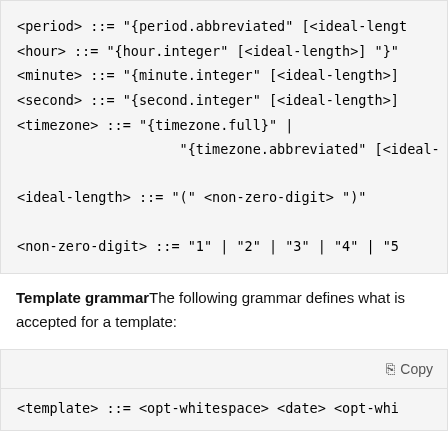<period> ::= "{period.abbreviated" [<ideal-length>  <hour> ::= "{hour.integer" [<ideal-length>] "}"  <minute> ::= "{minute.integer" [<ideal-length>]  <second> ::= "{second.integer" [<ideal-length>]  <timezone> ::= "{timezone.full}" | "{timezone.abbreviated" [<ideal-  <ideal-length> ::= "(" <non-zero-digit> ")"  <non-zero-digit> ::= "1" | "2" | "3" | "4" | "5
Template grammarThe following grammar defines what is accepted for a template:
<template> ::= <opt-whitespace> <date> <opt-whi